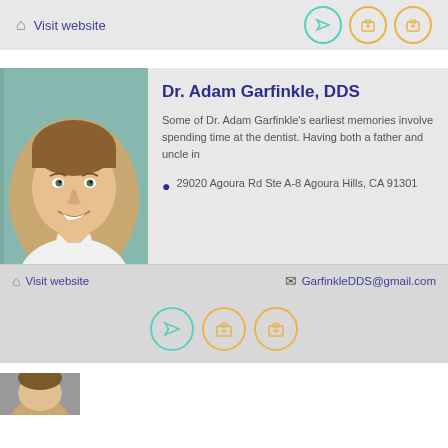Visit website
[Figure (infographic): Three circular icon buttons: one teal folder/send icon, two gold briefcase/medical bag icons]
[Figure (photo): Headshot of smiling young male doctor in white coat against colorful background]
Dr. Adam Garfinkle, DDS
Some of Dr. Adam Garfinkle's earliest memories involve spending time at the dentist.  Having both a father and uncle in
29020 Agoura Rd Ste A-8 Agoura Hills, CA 91301
Visit website
GarfinkleDDS@gmail.com
[Figure (infographic): Three circular icon buttons: one teal send/folder icon, two gold briefcase icons]
[Figure (photo): Partial view of another doctor's headshot at bottom of page]